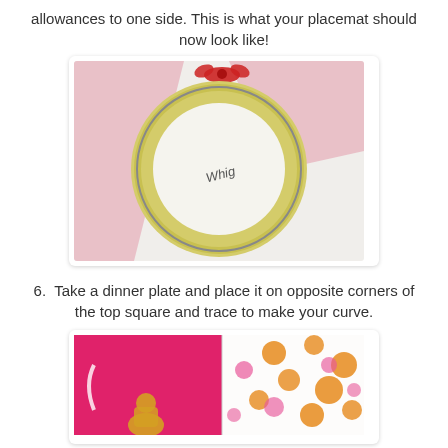allowances to one side. This is what your placemat should now look like!
[Figure (photo): Photo of a yellow dinner plate turned upside down on pink fabric, showing the bottom of the plate with a brand mark, corners of fabric visible.]
6.  Take a dinner plate and place it on opposite corners of the top square and trace to make your curve.
[Figure (photo): Photo of bright pink fabric next to white fabric with orange and pink polka dots, and a small illustrated character at the bottom.]